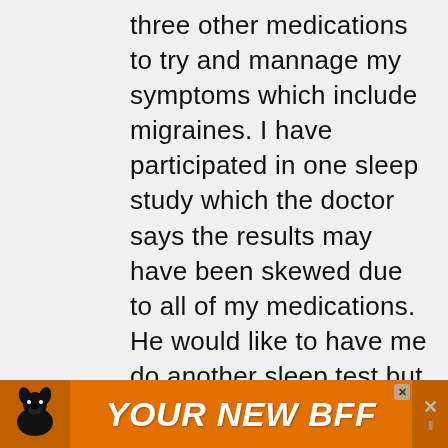three other medications to try and mannage my symptoms which include migraines. I have participated in one sleep study which the doctor says the results may have been skewed due to all of my medications. He would like to have me do another sleep test but after I get off of all of my medications and be completely medication free for 6 weeks!. I am now recently off of the Cymbalta and weaning off of the others as well. I am in the midst of some very
[Figure (illustration): Advertisement banner with orange background showing a black dog silhouette on the left and bold white italic text 'YOUR NEW BFF' in the center, with a close button (X) on the right side.]